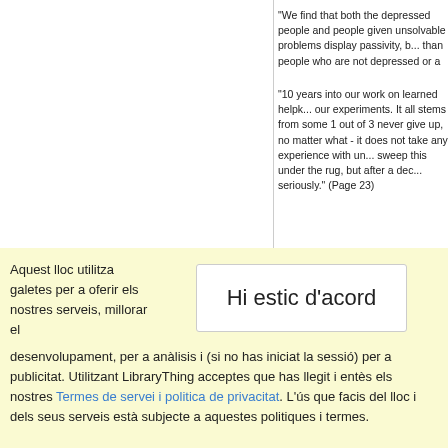"We find that both the depressed people and people given unsolvable problems display passivity, but more so than people who are not depressed or a
"10 years into our work on learned helplessness...our experiments. It all stems from some 1 out of 3 never give up, no matter what - it does not take any experience with un... sweep this under the rug, but after a dec... seriously." (Page 23)
"I found that teaching 10 year old childre...
Aquest lloc utilitza galetes per a oferir els nostres serveis, millorar el
Hi estic d'acord
desenvolupament, per a anàlisis i (si no has iniciat la sessió) per a publicitat. Utilitzant LibraryThing acceptes que has llegit i entès els nostres Termes de servei i politica de privacitat. L'ús que facis del lloc i dels seus serveis està subjecte a aquestes politiques i termes.